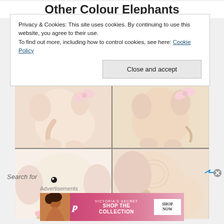Other Colour Elephants
Privacy & Cookies: This site uses cookies. By continuing to use this website, you agree to their use.
To find out more, including how to control cookies, see here: Cookie Policy
[Figure (photo): Four-panel photo grid showing cream/beige crocheted stuffed elephant toys from different angles, with pink ribbon/bow. Soft white background.]
Search for
Advertisements
[Figure (screenshot): Victoria's Secret advertisement banner: 'SHOP THE COLLECTION' with SHOP NOW button, pink background, model on left.]